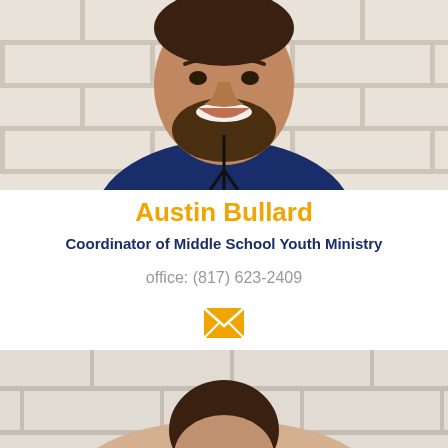[Figure (photo): Portrait photo of Austin Bullard, a bearded man wearing a navy blue long-sleeve shirt with a lanyard, standing in front of a white brick wall, smiling.]
Austin Bullard
Coordinator of Middle School Youth Ministry
office: (817) 623-2409
[Figure (illustration): Email envelope icon in gold/amber color]
[Figure (photo): Partial portrait photo of a second person with dark hair, standing in front of a lighter brick wall. Only the top of the head is visible at the bottom of the page.]